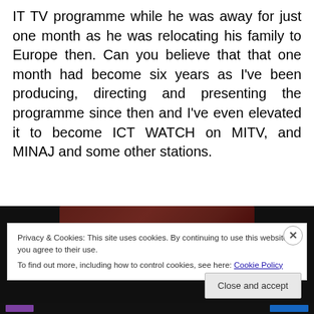IT TV programme while he was away for just one month as he was relocating his family to Europe then. Can you believe that that one month had become six years as I've been producing, directing and presenting the programme since then and I've even elevated it to become ICT WATCH on MITV, and MINAJ and some other stations.
[Figure (photo): Partial photo of a red device (likely a smartphone) visible behind a cookie consent banner, on a dark background]
Privacy & Cookies: This site uses cookies. By continuing to use this website, you agree to their use.
To find out more, including how to control cookies, see here: Cookie Policy
Close and accept